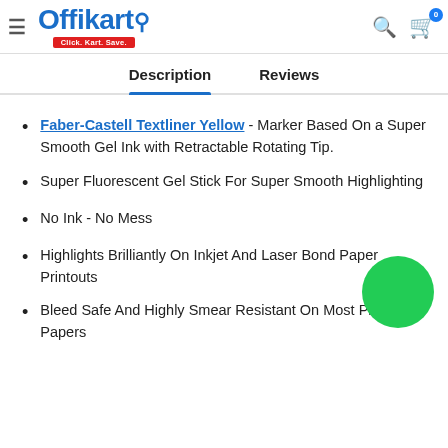Offikart - Click. Kart. Save.
Description | Reviews
Faber-Castell Textliner Yellow - Marker Based On a Super Smooth Gel Ink with Retractable Rotating Tip.
Super Fluorescent Gel Stick For Super Smooth Highlighting
No Ink - No Mess
Highlights Brilliantly On Inkjet And Laser Bond Paper Printouts
Bleed Safe And Highly Smear Resistant On Most Printed Papers